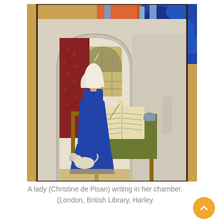[Figure (illustration): Medieval illuminated manuscript illustration of a lady (Christine de Pisan) seated at a green-cloth-covered desk writing in a book, inside a Gothic arched chamber with a latticed window, wearing a blue gown and white headdress, with a small dog at her feet. Colorful architectural details including orange roof tiles and blue Gothic spires visible in background.]
A lady (Christine de Pisan) writing in her chamber. (London, British Library, Harley